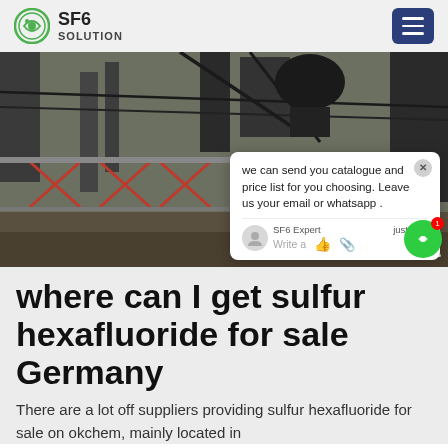SF6 SOLUTION
[Figure (photo): Industrial electrical substation with cables, metal structures and red cross-braced fencing]
we can send you catalogue and price list for you choosing. Leave us your email or whatsapp .
where can I get sulfur hexafluoride for sale Germany
There are a lot off suppliers providing sulfur hexafluoride for sale on okchem, mainly located in